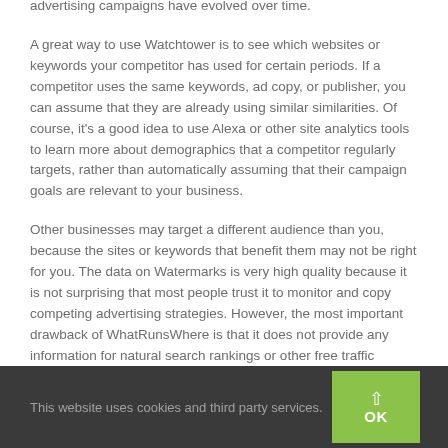advertising campaigns have evolved over time.
A great way to use Watchtower is to see which websites or keywords your competitor has used for certain periods. If a competitor uses the same keywords, ad copy, or publisher, you can assume that they are already using similar similarities. Of course, it's a good idea to use Alexa or other site analytics tools to learn more about demographics that a competitor regularly targets, rather than automatically assuming that their campaign goals are relevant to your business.
Other businesses may target a different audience than you, because the sites or keywords that benefit them may not be right for you. The data on Watermarks is very high quality because it is not surprising that most people trust it to monitor and copy competing advertising strategies. However, the most important drawback of WhatRunsWhere is that it does not provide any information for natural search rankings or other free traffic sources. Standard services also do not provide any information on-brand social media strategies, as they are better used in
This website uses cookies and third party services.